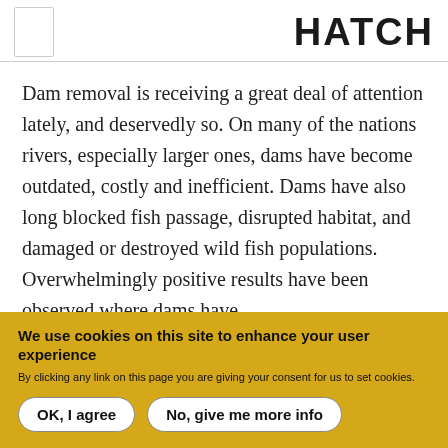HATCH
Dam removal is receiving a great deal of attention lately, and deservedly so. On many of the nations rivers, especially larger ones, dams have become outdated, costly and inefficient. Dams have also long blocked fish passage, disrupted habitat, and damaged or destroyed wild fish populations. Overwhelmingly positive results have been observed where dams have
We use cookies on this site to enhance your user experience
By clicking any link on this page you are giving your consent for us to set cookies.
OK, I agree
No, give me more info